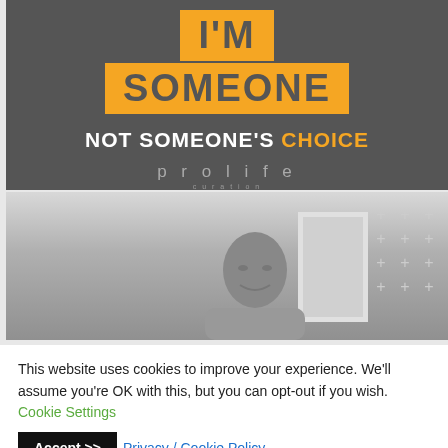[Figure (illustration): Dark gray background image with bold text reading 'I'M SOMEONE' in orange/gold highlight box, then 'NOT SOMEONE'S CHOICE' in white with 'CHOICE' in orange, and 'prolife' watermark text below]
[Figure (photo): Black and white photo of a person's face/head, with decorative plus signs grid in the upper right corner and a door frame visible in the background]
This website uses cookies to improve your experience. We'll assume you're OK with this, but you can opt-out if you wish. Cookie Settings Accept >> Privacy / Cookie Policy.